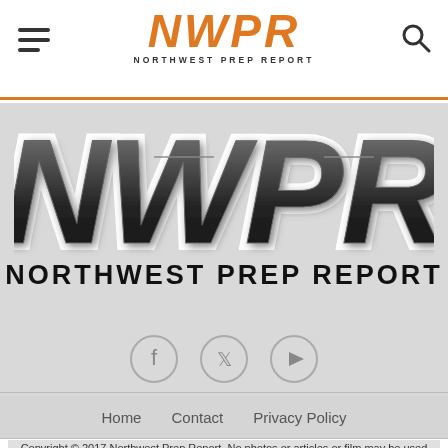NWPR NORTHWEST PREP REPORT
[Figure (logo): Large NWPR logo with dark metallic lettering and white outline, with NORTHWEST PREP REPORT text below]
[Figure (illustration): Three circular social media icons: Facebook, Twitter, YouTube]
Home   Contact   Privacy Policy
Copyright © 2017 Northwest Prep Report. No photos or articles or film may be used without written approval of ownership. All forum posters are 100% responsible for their actions and comments and records are kept of any abusive